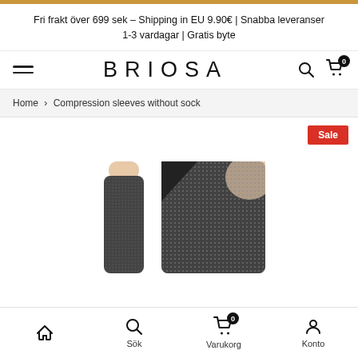Fri frakt över 699 sek – Shipping in EU 9.90€ | Snabba leveranser 1-3 vardagar | Gratis byte
BRIOSA
Home > Compression sleeves without sock
[Figure (photo): Product image showing a compression sleeve without sock, dark/black color, with a detail showing the textured fabric. A red 'Sale' badge is in the top right corner.]
Sök  Varukorg  Konto